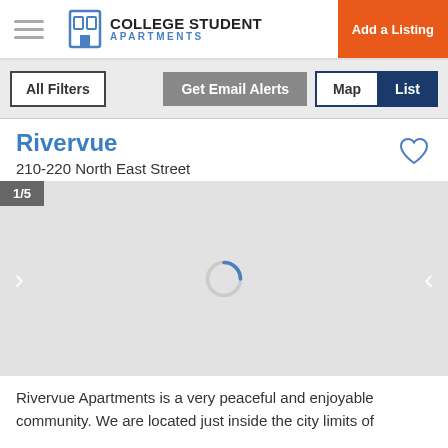College Student Apartments — Add a Listing
All Filters | Get Email Alerts | Map | List
Rivervue
210-220 North East Street
[Figure (screenshot): Image carousel showing apartment photo, with slide counter 1/5, left and right navigation arrows, and a loading spinner in the center on a grey background.]
Rivervue Apartments is a very peaceful and enjoyable community. We are located just inside the city limits of